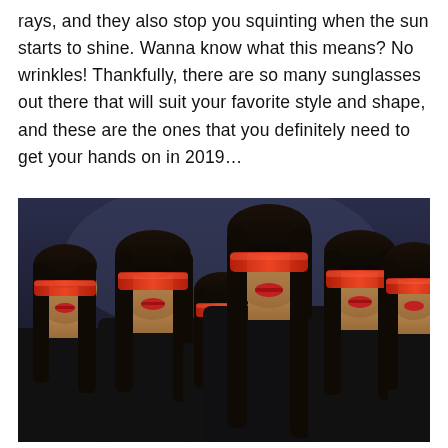rays, and they also stop you squinting when the sun starts to shine. Wanna know what this means? No wrinkles! Thankfully, there are so many sunglasses out there that will suit your favorite style and shape, and these are the ones that you definitely need to get your hands on in 2019…
[Figure (photo): Six women wearing identical red wraparound sunglasses, dressed in black, with long straight dark hair, posed against a dark blue background in a fashion/editorial style photo.]